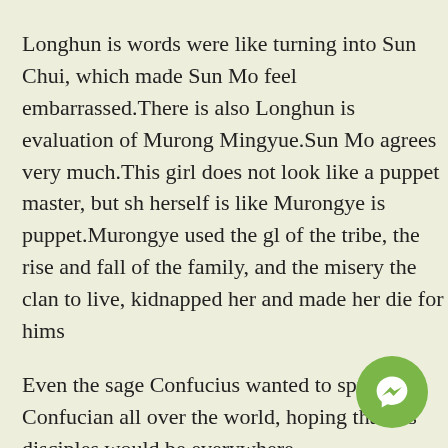Longhun is words were like turning into Sun Chui, which made Sun Mo feel embarrassed.There is also Longhun is evaluation of Murong Mingyue.Sun Mo agrees very much.This girl does not look like a puppet master, but she herself is like Murongye is puppet.Murongye used the glory of the tribe, the rise and fall of the family, and the misery of the clan to live, kidnapped her and made her die for himself.
Even the sage Confucius wanted to spread his Confucianism all over the world, hoping that his disciples would be everywhere.
Sun Mo usually carries a wooden knife and male enhancement pills like viagra puts it in the dormitory.With the school spirit and discipline of Fulong Academy, no one dares to steal from the famous teacher is dormitory, very safe.
[Figure (other): Green circular Messenger chat button icon in bottom-right corner]